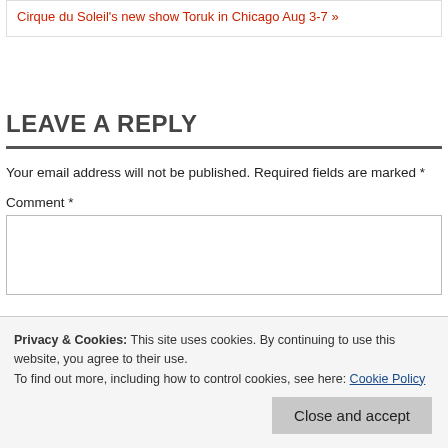Cirque du Soleil's new show Toruk in Chicago Aug 3-7 »
LEAVE A REPLY
Your email address will not be published. Required fields are marked *
Comment *
Privacy & Cookies: This site uses cookies. By continuing to use this website, you agree to their use.
To find out more, including how to control cookies, see here: Cookie Policy
Name *